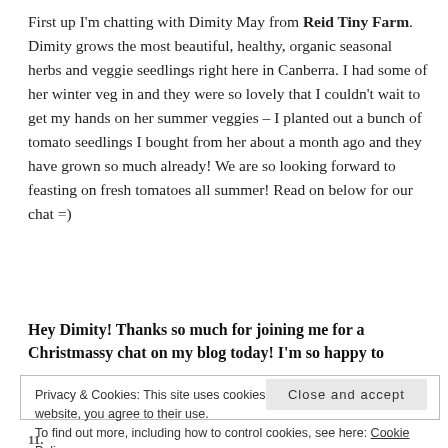First up I'm chatting with Dimity May from Reid Tiny Farm. Dimity grows the most beautiful, healthy, organic seasonal herbs and veggie seedlings right here in Canberra. I had some of her winter veg in and they were so lovely that I couldn't wait to get my hands on her summer veggies – I planted out a bunch of tomato seedlings I bought from her about a month ago and they have grown so much already! We are so looking forward to feasting on fresh tomatoes all summer! Read on below for our chat =)
Hey Dimity! Thanks so much for joining me for a Christmassy chat on my blog today! I'm so happy to
Privacy & Cookies: This site uses cookies. By continuing to use this website, you agree to their use.
To find out more, including how to control cookies, see here: Cookie Policy
Close and accept
11.